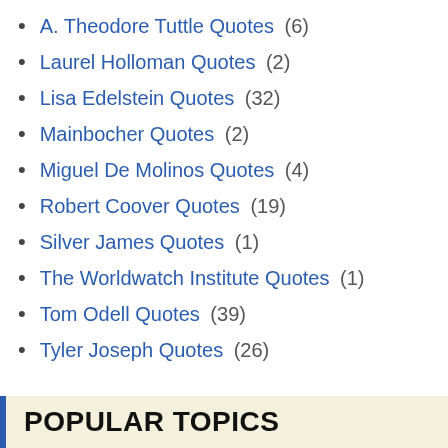A. Theodore Tuttle Quotes (6)
Laurel Holloman Quotes (2)
Lisa Edelstein Quotes (32)
Mainbocher Quotes (2)
Miguel De Molinos Quotes (4)
Robert Coover Quotes (19)
Silver James Quotes (1)
The Worldwatch Institute Quotes (1)
Tom Odell Quotes (39)
Tyler Joseph Quotes (26)
POPULAR TOPICS